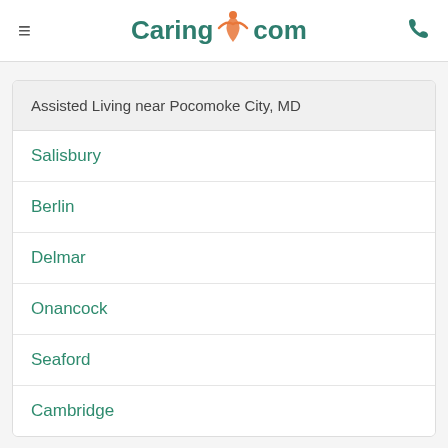Caring.com
Assisted Living near Pocomoke City, MD
Salisbury
Berlin
Delmar
Onancock
Seaford
Cambridge
Recent Reviews of Assisted Living in Pocomoke City